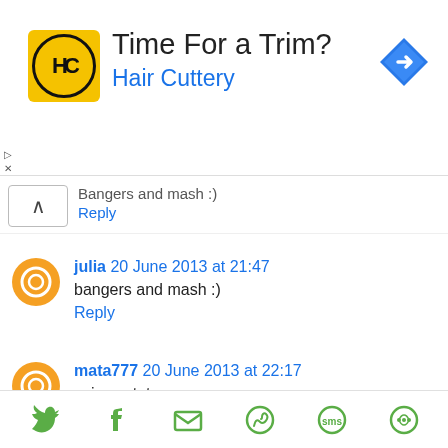[Figure (screenshot): Advertisement banner for Hair Cuttery with logo, title 'Time For a Trim?', subtitle 'Hair Cuttery', and a navigation arrow icon]
Bangers and mash :)
Reply
julia 20 June 2013 at 21:47
bangers and mash :)
Reply
mata777 20 June 2013 at 22:17
spicy potato soup
Reply
[Figure (infographic): Social share bar with icons for Twitter, Facebook, Email, WhatsApp, SMS, and another sharing service]